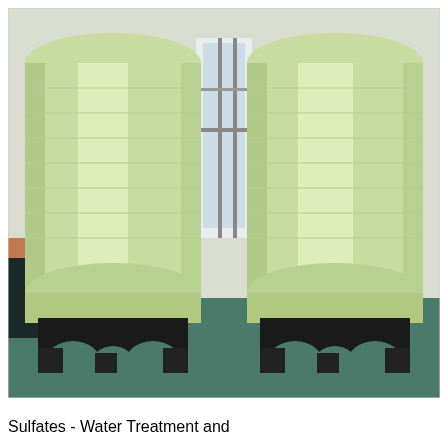[Figure (photo): Two large cylindrical light-green fiberglass water treatment tanks (pressure vessels) mounted on black plastic multi-leg bases, sitting on a dark teal/green floor inside an industrial facility. The tanks are tall and narrow at the top and bottom, wider in the middle. A window with metal frames is visible between the tanks in the background.]
Sulfates - Water Treatment and